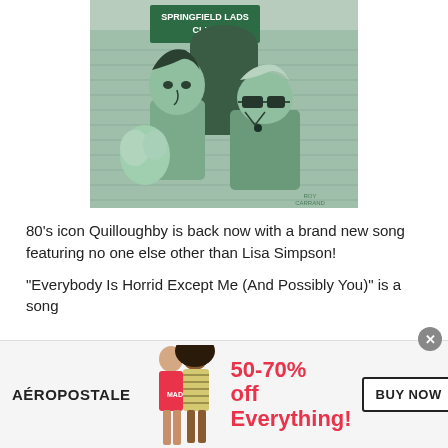[Figure (illustration): Animated illustration in green monochrome style showing two cartoon characters in front of a building labeled 'Springfield Lads Club'. One character is tall with dark hair holding flowers, the other is shorter wearing dark glasses and a jacket.]
80's icon Quilloughby is back now with a brand new song featuring no one else other than Lisa Simpson!
"Everybody Is Horrid Except Me (And Possibly You)" is a song
[Figure (infographic): Advertisement banner for Aéropostale showing two female models and the text '50-70% off Everything!' with a 'BUY NOW' button.]